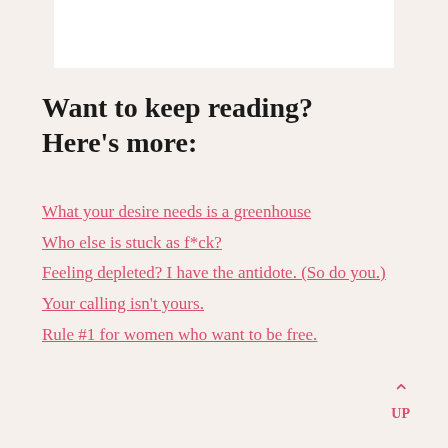Want to keep reading? Here’s more:
What your desire needs is a greenhouse
Who else is stuck as f*ck?
Feeling depleted? I have the antidote. (So do you.)
Your calling isn’t yours.
Rule #1 for women who want to be free.
UP